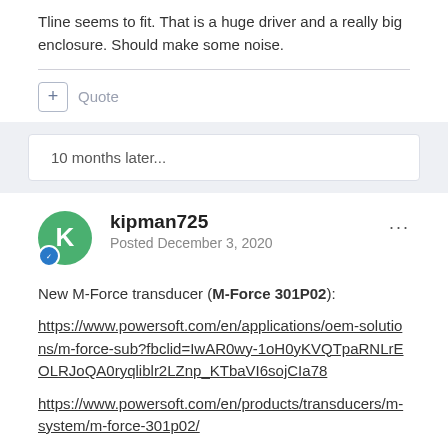Tline seems to fit. That is a huge driver and a really big enclosure. Should make some noise.
Quote
10 months later...
kipman725
Posted December 3, 2020
New M-Force transducer (M-Force 301P02):
https://www.powersoft.com/en/applications/oem-solutions/m-force-sub?fbclid=IwAR0wy-1oH0yKVQTpaRNLrEOLRJoQA0ryqliblr2LZnp_KTbaVI6sojCIa78
https://www.powersoft.com/en/products/transducers/m-system/m-force-301p02/